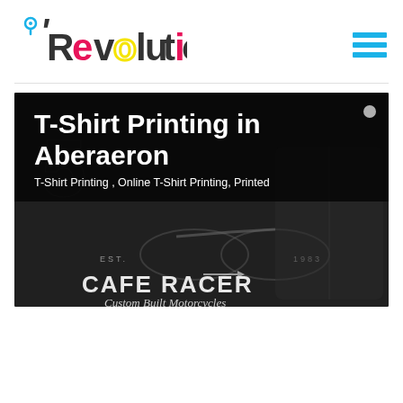[Figure (logo): Revolution print company logo with map pin, colorful CMYK-style lettering and location marker]
[Figure (illustration): Hamburger menu icon with three horizontal cyan/blue lines in top-right corner]
[Figure (photo): Dark hero banner image showing a t-shirt with Cafe Racer Custom Built Motorcycles graphic print on dark background. Overlaid with title text 'T-Shirt Printing in Aberaeron' and subtitle 'T-Shirt Printing , Online T-Shirt Printing, Printed']